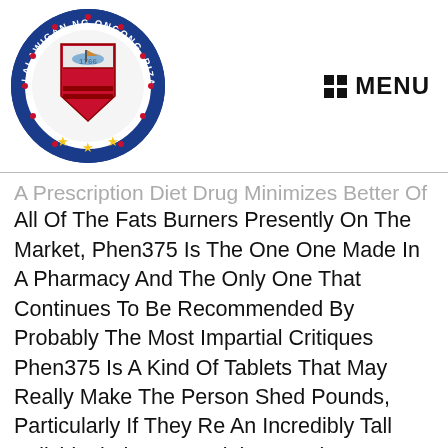[Figure (logo): Circular seal/logo of Rizal Province with text 'LALAWIGAN NG ONGONG RIZAL' around the border, shield emblem in center, year 1766, and stars at bottom]
MENU
A Prescription Diet Drug Minimizes Better Of All Of The Fats Burners Presently On The Market, Phen375 Is The One One Made In A Pharmacy And The Only One That Continues To Be Recommended By Probably The Most Impartial Critiques Phen375 Is A Kind Of Tablets That May Really Make The Person Shed Pounds, Particularly If They Re An Incredibly Tall Individual The User Might Experience An Increase In Power Levels Whereas Diet Calendar For Weight Loss Taking Phen375 Therefore, Should You Follow A Low Carbohydrate Food Regimen, You Can